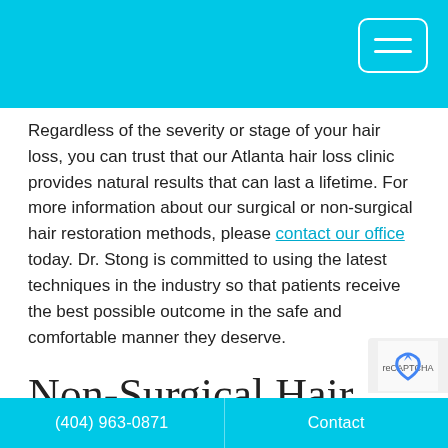Regardless of the severity or stage of your hair loss, you can trust that our Atlanta hair loss clinic provides natural results that can last a lifetime. For more information about our surgical or non-surgical hair restoration methods, please contact our office today. Dr. Stong is committed to using the latest techniques in the industry so that patients receive the best possible outcome in the safe and comfortable manner they deserve.
Non-Surgical Hair Loss Treatments FAQ
When is a non-surgical hair loss treatment chosen or indicated?
(404) 963-0871   Contact